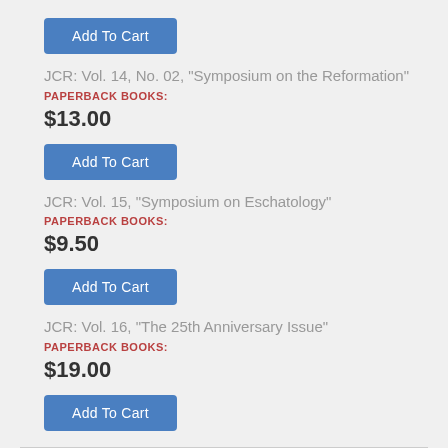Add To Cart
JCR: Vol. 14, No. 02, "Symposium on the Reformation"
PAPERBACK BOOKS:
$13.00
Add To Cart
JCR: Vol. 15, "Symposium on Eschatology"
PAPERBACK BOOKS:
$9.50
Add To Cart
JCR: Vol. 16, "The 25th Anniversary Issue"
PAPERBACK BOOKS:
$19.00
Add To Cart